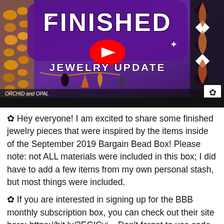[Figure (screenshot): YouTube video thumbnail for 'Finished Jewelry Update' from channel Orchid and Opal. Purple banner with white bold text reading FINISHED JEWELRY UPDATE, a red YouTube play button in the center, jewelry pieces decorating the sides, and a black bar at the bottom.]
✿ Hey everyone! I am excited to share some finished jewelry pieces that were inspired by the items inside of the September 2019 Bargain Bead Box! Please note: not ALL materials were included in this box; I did have to add a few items from my own personal stash, but most things were included.
✿ If you are interested in signing up for the BBB monthly subscription box, you can check out their site here: https://bit.ly/2EGlCyj – Don't forget to use code OPAL2 to save $8 off your first monthly subscription.